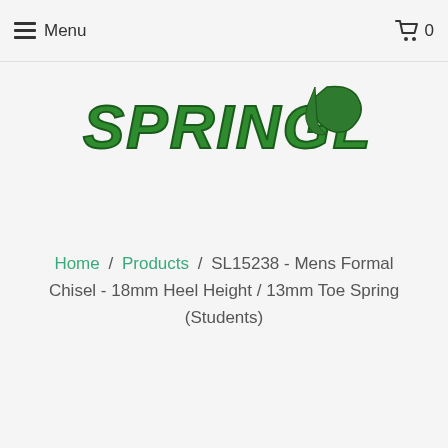Menu  0
[Figure (logo): Springline logo with green italic bold text 'SPRINGLINE' and a green sock/foot icon]
Home / Products / SL15238 - Mens Formal Chisel - 18mm Heel Height / 13mm Toe Spring (Students)